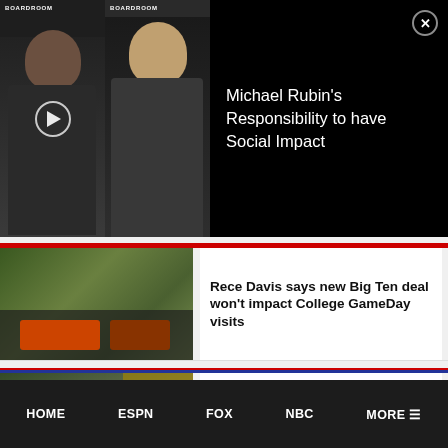[Figure (screenshot): Video player overlay showing two men in a Boardroom-branded video. Left person has dark complexion, right person is lighter. Play button visible in center. Title text reads Michael Rubin's Responsibility to have Social Impact]
Michael Rubin’s Responsibility to have Social Impact
[Figure (photo): College GameDay broadcast set with anchors on a football field with stadium seating in background]
Rece Davis says new Big Ten deal won’t impact College GameDay visits
VIEWING PICKS
[Figure (photo): Football player wearing Hawaii #31 jersey running with ball, referee in background, opponent in yellow jersey]
TV and Streaming Viewing Picks for August 27, 2022: how to watch college football
ESPN
[Figure (photo): Partial view of a person's face from an ESPN-branded article]
HOME   ESPN   FOX   NBC   MORE